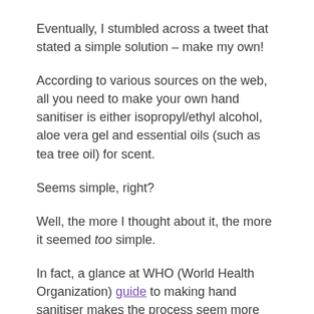Eventually, I stumbled across a tweet that stated a simple solution – make my own!
According to various sources on the web, all you need to make your own hand sanitiser is either isopropyl/ethyl alcohol, aloe vera gel and essential oils (such as tea tree oil) for scent.
Seems simple, right?
Well, the more I thought about it, the more it seemed too simple.
In fact, a glance at WHO (World Health Organization) guide to making hand sanitiser makes the process seem more complicated than mixing three ingredients in a bowl.